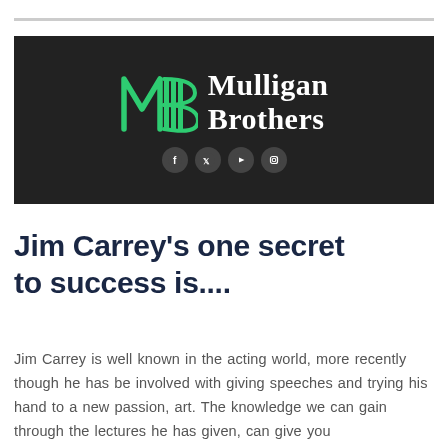[Figure (logo): Mulligan Brothers logo on dark background with green MB monogram, white serif text 'Mulligan Brothers', and social media icons (Facebook, Twitter, YouTube, Instagram)]
Jim Carrey's one secret to success is....
Jim Carrey is well known in the acting world, more recently though he has be involved with giving speeches and trying his hand to a new passion, art. The knowledge we can gain through the lectures he has given, can give you